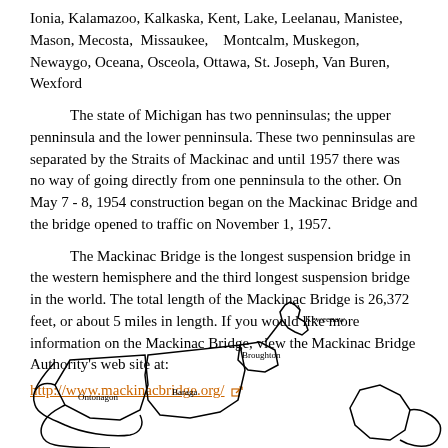Ionia, Kalamazoo, Kalkaska, Kent, Lake, Leelanau, Manistee, Mason, Mecosta,  Missaukee,   Montcalm, Muskegon, Newaygo, Oceana, Osceola, Ottawa, St. Joseph, Van Buren, Wexford
The state of Michigan has two penninsulas; the upper penninsula and the lower penninsula. These two penninsulas are separated by the Straits of Mackinac and until 1957 there was no way of going directly from one penninsula to the other. On May 7 - 8, 1954 construction began on the Mackinac Bridge and the bridge opened to traffic on November 1, 1957.
The Mackinac Bridge is the longest suspension bridge in the western hemisphere and the third longest suspension bridge in the world. The total length of the Mackinac Bridge is 26,372 feet, or about 5 miles in length. If you would like more information on the Mackinac Bridge, view the Mackinac Bridge Authority's web site at: http://www.mackinacbridge.org/
[Figure (map): Partial map of Michigan's Upper Peninsula showing county outlines, with labels for Keweenaw, Broughton, Ontonagon, and Baraga counties visible.]